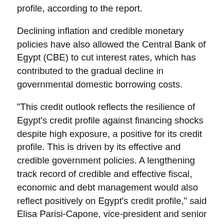profile, according to the report.
Declining inflation and credible monetary policies have also allowed the Central Bank of Egypt (CBE) to cut interest rates, which has contributed to the gradual decline in governmental domestic borrowing costs.
"This credit outlook reflects the resilience of Egypt's credit profile against financing shocks despite high exposure, a positive for its credit profile. This is driven by its effective and credible government policies. A lengthening track record of credible and effective fiscal, economic and debt management would also reflect positively on Egypt's credit profile," said Elisa Parisi-Capone, vice-president and senior analyst at Moody's Investors Service.
The report highlighted Egypt's main credit weaknesses that include very large government financing need of 30 percent to 40 percent of GDP annually, with high rollover rates that expose Egypt's financing conditions to tightening